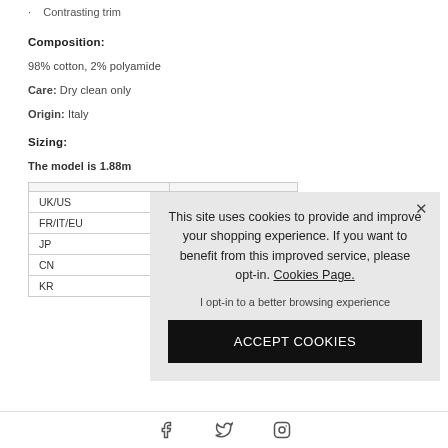Contrasting trim
Composition:
98% cotton, 2% polyamide
Care: Dry clean only
Origin: Italy
Sizing:
The model is 1.88m
|  |  |
| --- | --- |
| UK/US |  |
| FR/IT/EU |  |
| JP |  |
| CN |  |
| KR |  |
[Figure (screenshot): Cookie consent overlay with message: 'This site uses cookies to provide and improve your shopping experience. If you want to benefit from this improved service, please opt-in. Cookies Page.' with opt-in text and ACCEPT COOKIES button.]
Facebook, Twitter, Instagram social icons